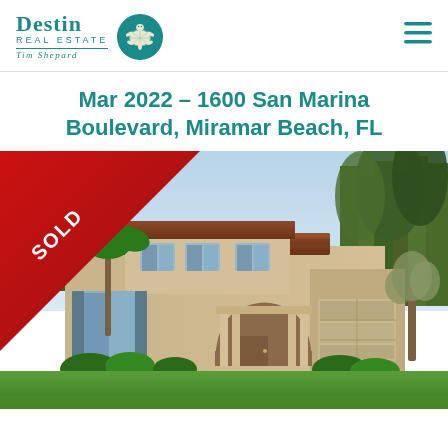Destin Real Estate Tim Shepard
Mar 2022 – 1600 San Marina Boulevard, Miramar Beach, FL
[Figure (photo): Exterior photo of a two-story Mediterranean-style home with tile roof, stucco siding, arched entry, circular driveway, lush green lawn, and tall pine trees in background. A red diagonal 'SOLD' banner is overlaid on the upper-left corner of the photo.]